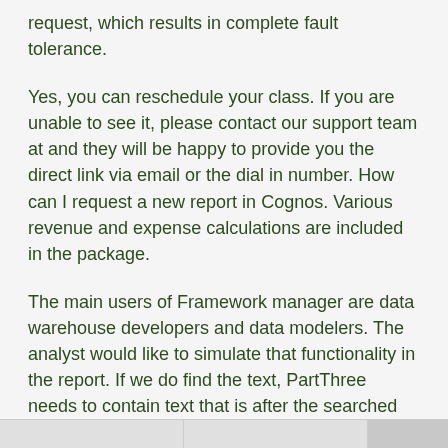request, which results in complete fault tolerance.
Yes, you can reschedule your class. If you are unable to see it, please contact our support team at and they will be happy to provide you the direct link via email or the dial in number. How can I request a new report in Cognos. Various revenue and expense calculations are included in the package.
The main users of Framework manager are data warehouse developers and data modelers. The analyst would like to simulate that functionality in the report. If we do find the text, PartThree needs to contain text that is after the searched string, including the space after the searched string. How many units of a product should we buy by each period of the year.
See the Data Collections section below for complete details about available Cognos packages.